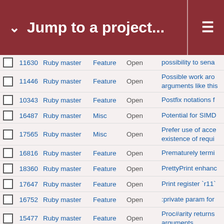Jump to a project...
|  | # | Project | Type | Status | Description |
| --- | --- | --- | --- | --- | --- |
| ☐ | 11630 | Ruby master | Feature | Open | possibility to sena... |
| ☐ | 11446 | Ruby master | Feature | Open | Possible work aro arguments like this |
| ☐ | 10343 | Ruby master | Feature | Open | Postfix notations f... |
| ☐ | 16487 | Ruby master | Misc | Open | Potential for SIMD... |
| ☐ | 17565 | Ruby master | Misc | Open | Prefer use of acce existence of requi... |
| ☐ | 16816 | Ruby master | Feature | Open | Prematurely termi... |
| ☐ | 18360 | Ruby master | Feature | Open | PrettyPrint enhanc... |
| ☐ | 17647 | Ruby master | Feature | Open | Print register `r11`... |
| ☐ | 16752 | Ruby master | Feature | Open | :private param for... |
| ☐ | 15477 | Ruby master | Feature | Open | Proc#arity returns arguments |
| ☐ | 5007 | Ruby master | Feature | Assigned | Proc#call_under: U... |
| ☐ | 8786 | Ruby master | Feature | Open | Process.clock_get... |
| ☐ | 7082 | Ruby master | Feature | Open | Process.kill 0 in w... |
| ☐ | 6012 | Ruby master | Feature | Assigned | Proc#source_loca... |
| ☐ | 16461 | Ruby master | Feature | Assigned | Proc#using |